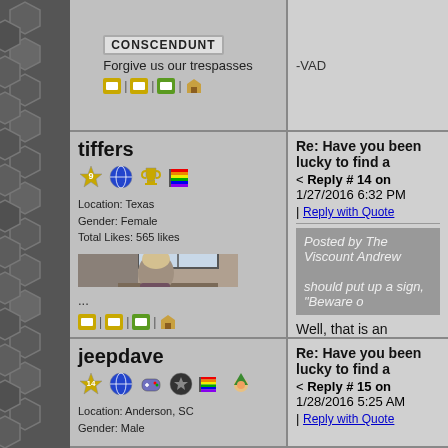CONSCENDUNT
Forgive us our trespasses
-VAD
tiffers
Reply # 14 on 1/27/2016 6:32 PM
Reply with Quote
Location: Texas
Gender: Female
Total Likes: 565 likes
[Figure (photo): Person sitting at a desk from behind, with a cat on a shelf near a window]
...
Posted by The Viscount Andrew
should put up a sign, "Beware o
Well, that is an exceptional idea!
Flickr: https://www.flickr...9156858@N05/albums
jeepdave
Reply # 15 on 1/28/2016 5:25 AM
Reply with Quote
Location: Anderson, SC
Gender: Male